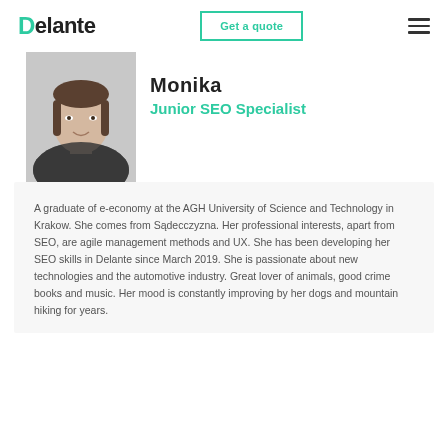Delante | Get a quote
Monika
Junior SEO Specialist
[Figure (photo): Black and white portrait photo of Monika, a young woman smiling, with shoulder-length hair, wearing a dark speckled blouse.]
A graduate of e-economy at the AGH University of Science and Technology in Krakow. She comes from Sądecczyzna. Her professional interests, apart from SEO, are agile management methods and UX. She has been developing her SEO skills in Delante since March 2019. She is passionate about new technologies and the automotive industry. Great lover of animals, good crime books and music. Her mood is constantly improving by her dogs and mountain hiking for years.